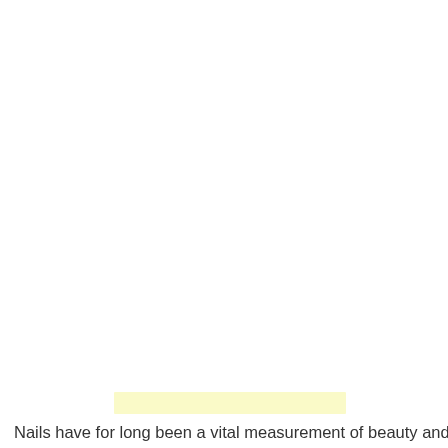[Figure (other): Yellow/cream colored horizontal rectangular bar, decorative element]
Nails have for long been a vital measurement of beauty and